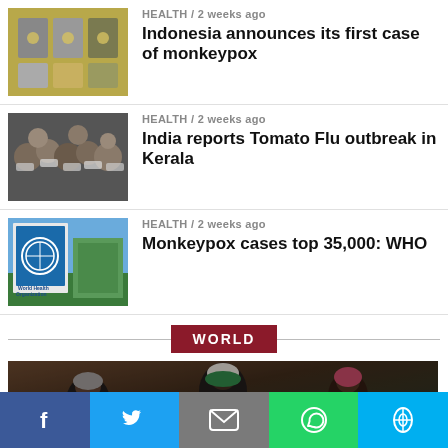[Figure (photo): Thumbnail image of monkeypox vaccine vials or related medical items]
HEALTH / 2 weeks ago
Indonesia announces its first case of monkeypox
[Figure (photo): Thumbnail of a crowd of people wearing masks]
HEALTH / 2 weeks ago
India reports Tomato Flu outbreak in Kerala
[Figure (photo): Thumbnail of WHO World Health Organization banner/sign]
HEALTH / 2 weeks ago
Monkeypox cases top 35,000: WHO
WORLD
[Figure (photo): Photo of people, possibly women in headscarves]
Social sharing buttons: Facebook, Twitter, Email, WhatsApp, Skype